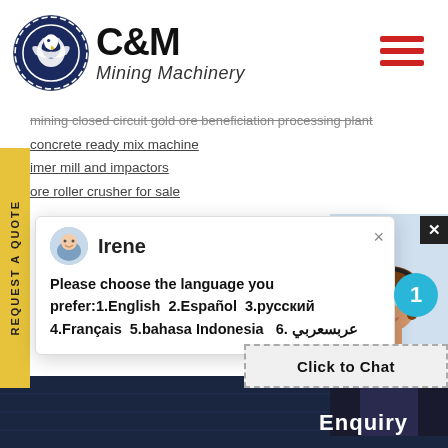[Figure (logo): C&M Mining Machinery logo with eagle/gear icon in dark blue circle and company name text]
mining closed circuit gold ore beneficiation processing plant
concrete ready mix machine
imer mill and impactors
ore roller crusher for sale
Irene
Please choose the language you prefer:1.English  2.Español  3.русский  4.Français  5.bahasa Indonesia   6. عربسعربي
ore crusher manufacturer for australia
onite processing system
crushing machine manufacturers
ensional analysis and ball mill performa
gold mining vibrating feeder
a grinding material
[Figure (photo): Customer service woman wearing headset, smiling]
Click to Chat
Enquiry